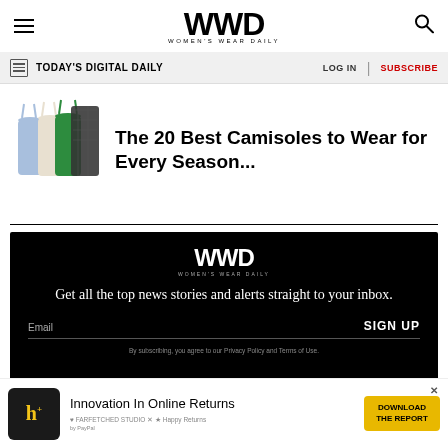WWD WOMEN'S WEAR DAILY
TODAY'S DIGITAL DAILY | LOG IN | SUBSCRIBE
The 20 Best Camisoles to Wear for Every Season...
[Figure (photo): Newsletter signup block with WWD logo on black background with email input and sign up button]
[Figure (photo): Advertisement banner: Innovation In Online Returns with download the report button]